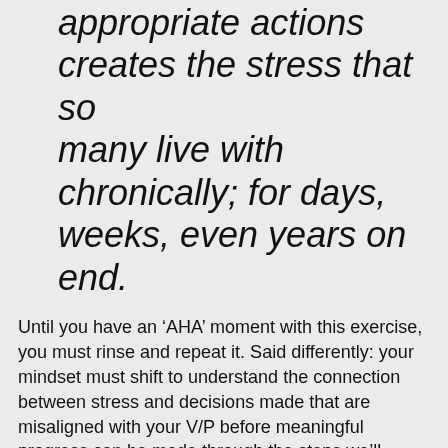appropriate actions creates the stress that so many live with chronically; for days, weeks, even years on end.
Until you have an ‘AHA’ moment with this exercise, you must rinse and repeat it. Said differently: your mindset must shift to understand the connection between stress and decisions made that are misaligned with your V/P before meaningful progress can be made through the steps we’ll cover in the next post.